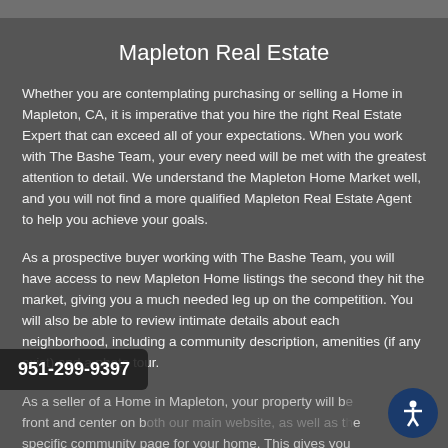Mapleton Real Estate
Whether you are contemplating purchasing or selling a Home in Mapleton, CA, it is imperative that you hire the right Real Estate Expert that can exceed all of your expectations. When you work with The Bashe Team, your every need will be met with the greatest attention to detail. We understand the Mapleton Home Market well, and you will not find a more qualified Mapleton Real Estate Agent to help you achieve your goals.
As a prospective buyer working with The Bashe Team, you will have access to new Mapleton Home listings the second they hit the market, giving you a much needed leg up on the competition. You will also be able to review intimate details about each neighborhood, including a community description, amenities (if any exist) and a photo tour.
As a seller of a Home in Mapleton, your property will be front and center on both our main website, as well as the specific community page for your home. This gives you